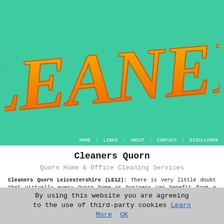[Figure (logo): CLEANERS logo in large orange brush-script lettering on teal/mint green background]
HOME | LINKS | ABOUT | CONTACT | DISCLAIMER
Cleaners Quorn
Quorn Home & Office Cleaning Services
Cleaners Quorn Leicestershire (LE12): There is very little doubt that virtually every Quorn home or business can benefit from a little bit of assistance with the cleaning on the odd occasion. You may want a house cleaned prior to moving in, perhaps you're too busy to do the task on your own, or it's possible you simply want an experienced Quorn cleaning company to breeze in and take that bit of stress out of your daily life. A good value and efficient cleaning contractor will be on hand to keep your Quorn home looking
By using this website you are agreeing to the use of third-party cookies Learn More OK